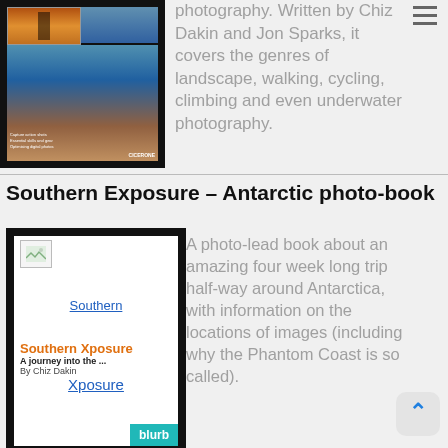[Figure (photo): Book cover for outdoor photography guide by Chiz Dakin and Jon Sparks, showing sunset silhouette and landscape images, published by Cicerone]
photography. Written by Chiz Dakin and Jon Sparks, it covers the genres of landscape, walking, cycling, climbing and even underwater photography.
Southern Exposure – Antarctic photo-book
[Figure (photo): Book cover for Southern Xposure by Chiz Dakin, showing a broken image placeholder and links to 'Southern' and 'Xposure', with a blurb tag]
A photo-lead book about an amazing four week long trip half-way around Antarctica, with information on the locations of images (including why the Phantom Coast is so called).